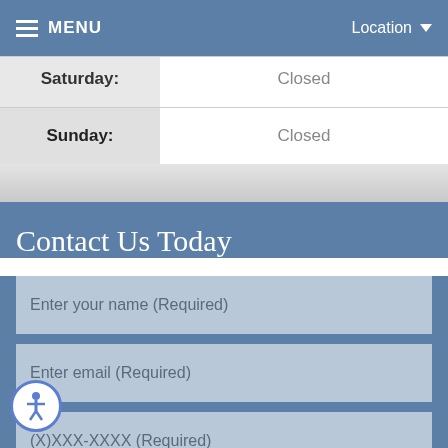MENU | Location
| Day | Hours |
| --- | --- |
| Saturday: | Closed |
| Sunday: | Closed |
Contact Us Today
Enter your name (Required)
Enter email (Required)
(X)XXX-XXXX (Required)